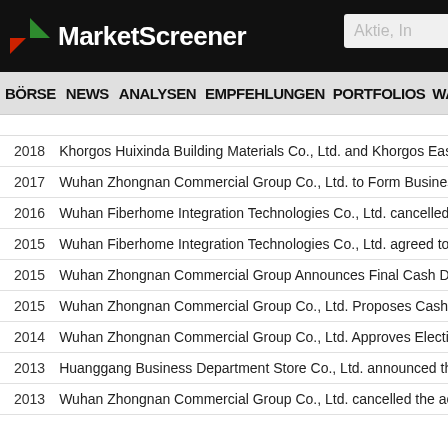MarketScreener
BÖRSE NEWS ANALYSEN EMPFEHLUNGEN PORTFOLIOS WATCHL
| Year | Headline |
| --- | --- |
| 2018 | Khorgos Huixinda Building Materials Co., Ltd. and Khorgos Easyhome H… |
| 2017 | Wuhan Zhongnan Commercial Group Co., Ltd. to Form Business Manage… |
| 2016 | Wuhan Fiberhome Integration Technologies Co., Ltd. cancelled the acqu… |
| 2015 | Wuhan Fiberhome Integration Technologies Co., Ltd. agreed to acquire 2… |
| 2015 | Wuhan Zhongnan Commercial Group Announces Final Cash Dividend fo… |
| 2015 | Wuhan Zhongnan Commercial Group Co., Ltd. Proposes Cash Dividend… |
| 2014 | Wuhan Zhongnan Commercial Group Co., Ltd. Approves Election of Ind… |
| 2013 | Huanggang Business Department Store Co., Ltd. announced that it expe… |
| 2013 | Wuhan Zhongnan Commercial Group Co., Ltd. cancelled the acquisition … |